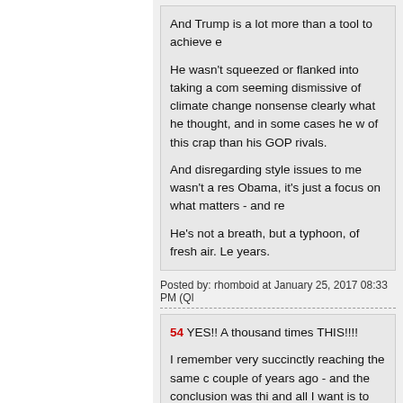And Trump is a lot more than a tool to achieve e
He wasn't squeezed or flanked into taking a com seeming dismissive of climate change nonsense clearly what he thought, and in some cases he w of this crap than his GOP rivals.
And disregarding style issues to me wasn't a res Obama, it's just a focus on what matters - and re
He's not a breath, but a typhoon, of fresh air. Le years.
Posted by: rhomboid at January 25, 2017 08:33 PM (Ql
54 YES!! A thousand times THIS!!!!
I remember very succinctly reaching the same c couple of years ago - and the conclusion was thi and all I want is to get even.
I want retribution.
Posted by: Weasel at January 25, 2017 08:33 PM (Sfs6